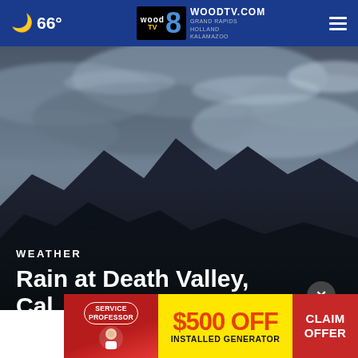🌙 66° | WOODTV.COM Grand Rapids Holland Kalamazoo
[Figure (photo): Dramatic overcast sky with dark storm clouds above a silhouetted mountain range, suggesting stormy weather at Death Valley, California]
WEATHER
Rain at Death Valley, Cal…
[Figure (infographic): Advertisement banner: Service Professor $500 OFF Installed Generator — Claim Offer]